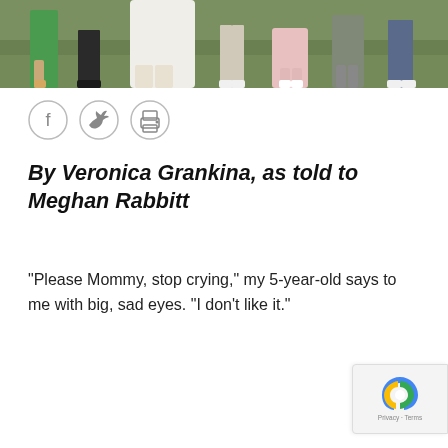[Figure (photo): Cropped photograph showing the lower bodies of several people standing outdoors on grass, apparently at a wedding. Visible are legs and feet in various outfits including a green dress, a white dress, and other formal attire.]
[Figure (infographic): Three social sharing icon buttons in circles: Facebook (f), Twitter (bird), and Print (printer icon)]
By Veronica Grankina, as told to Meghan Rabbitt
“Please Mommy, stop crying,” my 5-year-old says to me with big, sad eyes. “I don’t like it.”